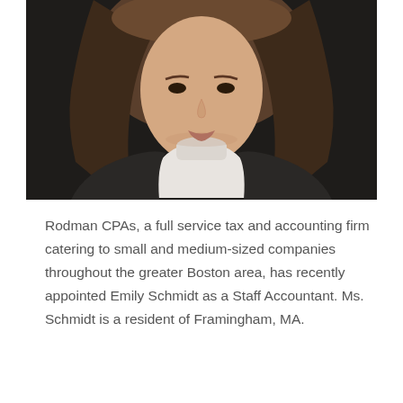[Figure (photo): Portrait photo of a woman with brown hair wearing a white top and dark blazer, photographed from the shoulders up against a dark background.]
Rodman CPAs, a full service tax and accounting firm catering to small and medium-sized companies throughout the greater Boston area, has recently appointed Emily Schmidt as a Staff Accountant. Ms. Schmidt is a resident of Framingham, MA.